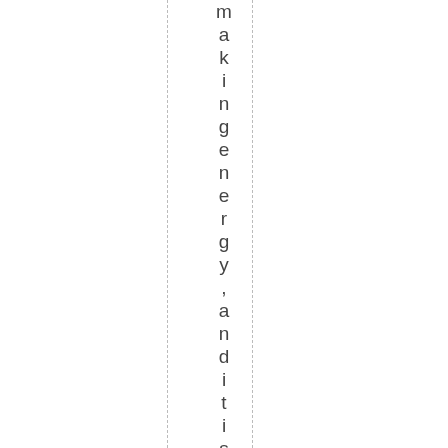making energy, and it isn't co